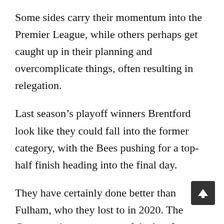Some sides carry their momentum into the Premier League, while others perhaps get caught up in their planning and overcomplicate things, often resulting in relegation.
Last season's playoff winners Brentford look like they could fall into the former category, with the Bees pushing for a top-half finish heading into the final day.
They have certainly done better than Fulham, who they lost to in 2020. The Cottagers have won two of the last four playoff finals, only to return to the Championship at the first time asking on both occasions.